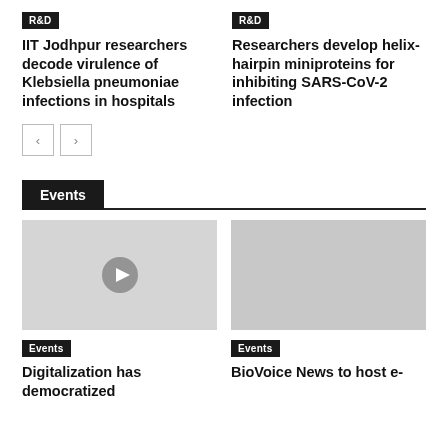R&D
IIT Jodhpur researchers decode virulence of Klebsiella pneumoniae infections in hospitals
R&D
Researchers develop helix-hairpin miniproteins for inhibiting SARS-CoV-2 infection
[Figure (other): Navigation previous and next buttons]
Events
[Figure (other): Thumbnail with play button for Events video - Digitalization has democratized]
Events
Digitalization has democratized
[Figure (other): Thumbnail placeholder for Events article - BioVoice News to host e-]
Events
BioVoice News to host e-